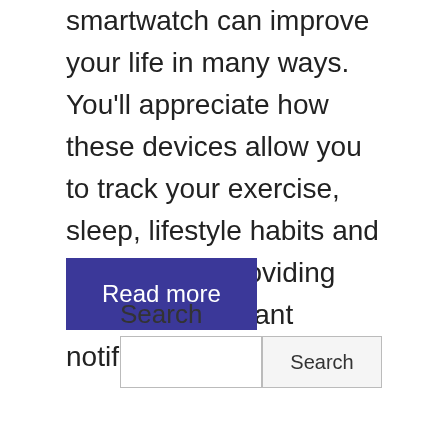smartwatch can improve your life in many ways. You'll appreciate how these devices allow you to track your exercise, sleep, lifestyle habits and health while providing you with important notifications, calls and …
Read more
Search
Search